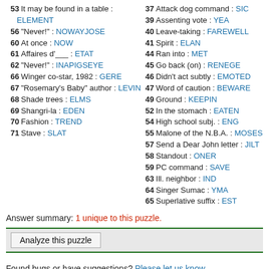53 It may be found in a table : ELEMENT
56 "Never!" : NOWAYJOSE
60 At once : NOW
61 Affaires d'___ : ETAT
62 "Never!" : INAPIGSEYE
66 Winger co-star, 1982 : GERE
67 "Rosemary's Baby" author : LEVIN
68 Shade trees : ELMS
69 Shangri-la : EDEN
70 Fashion : TREND
71 Stave : SLAT
37 Attack dog command : SIC
39 Assenting vote : YEA
40 Leave-taking : FAREWELL
41 Spirit : ELAN
44 Ran into : MET
45 Go back (on) : RENEGE
46 Didn't act subtly : EMOTED
47 Word of caution : BEWARE
49 Ground : KEEPIN
52 In the stomach : EATEN
54 High school subj. : ENG
55 Malone of the N.B.A. : MOSES
57 Send a Dear John letter : JILT
58 Standout : ONER
59 PC command : SAVE
63 Ill. neighbor : IND
64 Singer Sumac : YMA
65 Superlative suffix : EST
Answer summary: 1 unique to this puzzle.
Analyze this puzzle
Found bugs or have suggestions? Please let us know.
Like this puzzle? Please share this page on social media to help